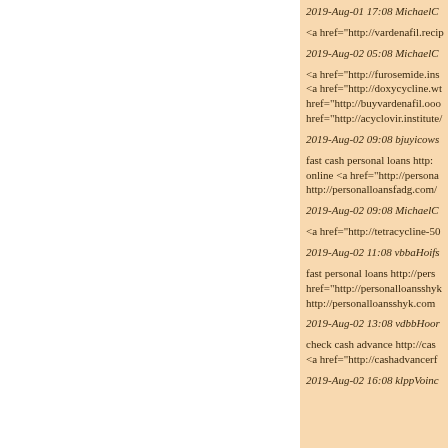2019-Aug-01 17:08 MichaelC
<a href="http://vardenafil.recip
2019-Aug-02 05:08 MichaelC
<a href="http://furosemide.ins <a href="http://doxycycline.wt href="http://buyvardenafil.ooo href="http://acyclovir.institute/
2019-Aug-02 09:08 bjuyicows
fast cash personal loans http: online <a href="http://persona http://personalloansfadg.com/
2019-Aug-02 09:08 MichaelC
<a href="http://tetracycline-50
2019-Aug-02 11:08 vbbaHoifs
fast personal loans http://pers href="http://personalloansshyk http://personalloansshyk.com
2019-Aug-02 13:08 vdbbHoor
check cash advance http://cas <a href="http://cashadvancerf
2019-Aug-02 16:08 klppVoinc